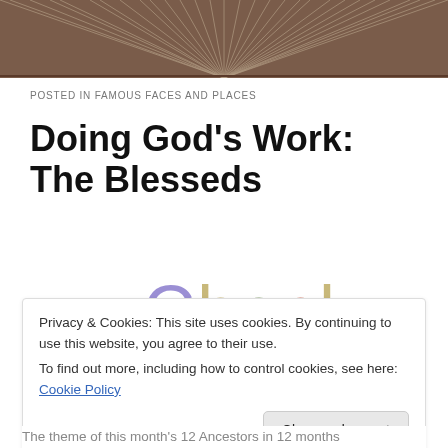[Figure (illustration): Decorative header image with radiating lines pattern in brown/sepia tones]
POSTED IN FAMOUS FACES AND PLACES
Doing God's Work: The Blesseds
[Figure (illustration): Colorful handwritten-style word 'Check' with each letter in a different muted color]
Privacy & Cookies: This site uses cookies. By continuing to use this website, you agree to their use.
To find out more, including how to control cookies, see here: Cookie Policy
Close and accept
The theme of this month's 12 Ancestors in 12 months